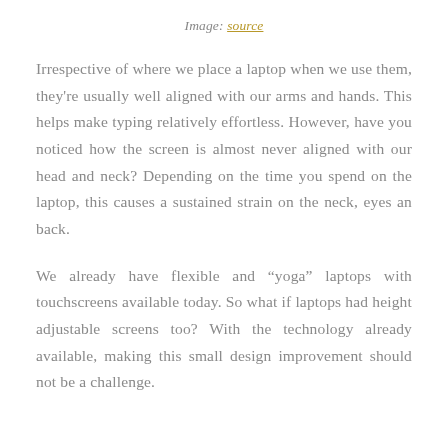Image: source
Irrespective of where we place a laptop when we use them, they're usually well aligned with our arms and hands. This helps make typing relatively effortless. However, have you noticed how the screen is almost never aligned with our head and neck? Depending on the time you spend on the laptop, this causes a sustained strain on the neck, eyes an back.
We already have flexible and “yoga” laptops with touchscreens available today. So what if laptops had height adjustable screens too? With the technology already available, making this small design improvement should not be a challenge.